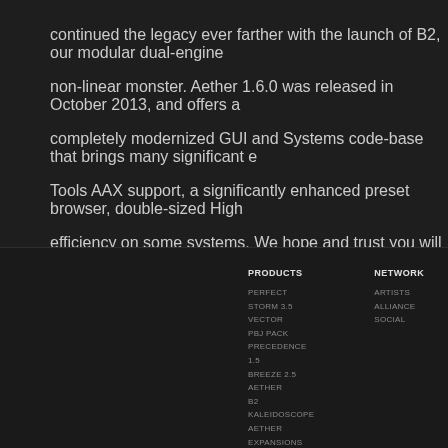continued the legacy ever farther with the launch of B2, our modular dual-engine non-linear monster. Aether 1.6.0 was released in October 2013, and offers a completely modernized GUI and Systems code-base that brings many significant e Tools AAX support, a significantly enhanced preset browser, double-sized High efficiency on some systems. We hope and trust you will be just as excited about th
PRODUCTS
PERFECT STORM 3.5
VECTOR
PBJ PACK
PRECEDENCE 1.5
BREEZE 2.5
AETHER
B2
KALEIDOSCOPE
AETHER EXPANSIONS
B2 EXPANSIONS
BREEZE EXPANSIONS
NETWORK
ARTISTS
ALLIANCE
SOCIAL